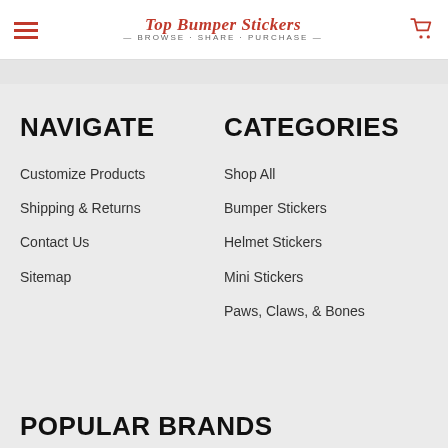Top Bumper Stickers — BROWSE · SHARE · PURCHASE —
NAVIGATE
Customize Products
Shipping & Returns
Contact Us
Sitemap
CATEGORIES
Shop All
Bumper Stickers
Helmet Stickers
Mini Stickers
Paws, Claws, & Bones
POPULAR BRANDS